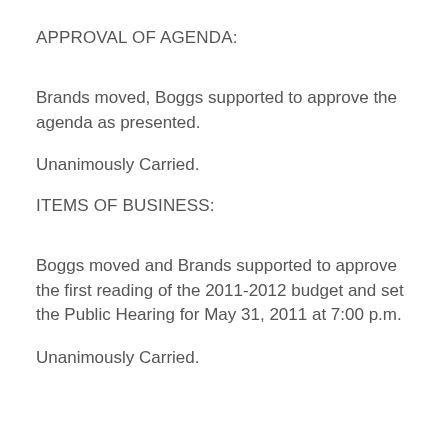APPROVAL OF AGENDA:
Brands moved, Boggs supported to approve the agenda as presented.
Unanimously Carried.
ITEMS OF BUSINESS:
Boggs moved and Brands supported to approve the first reading of the 2011-2012 budget and set the Public Hearing for May 31, 2011 at 7:00 p.m.
Unanimously Carried.